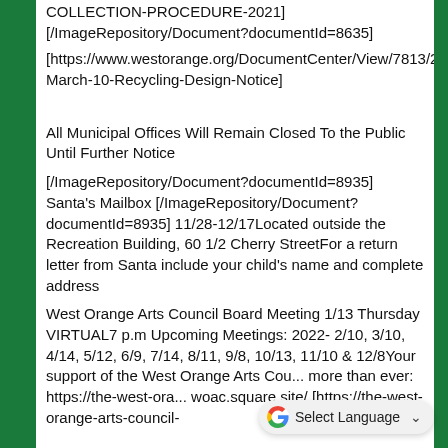COLLECTION-PROCEDURE-2021] [/ImageRepository/Document?documentId=8635]
[https://www.westorange.org/DocumentCenter/View/7813/20... March-10-Recycling-Design-Notice]
All Municipal Offices Will Remain Closed To the Public Until Further Notice
[/ImageRepository/Document?documentId=8935] Santa's Mailbox [/ImageRepository/Document?documentId=8935] 11/28-12/17Located outside the Recreation Building, 60 1/2 Cherry StreetFor a return letter from Santa include your child's name and complete address
West Orange Arts Council Board Meeting 1/13 Thursday VIRTUAL7 p.m Upcoming Meetings: 2022- 2/10, 3/10, 4/14, 5/12, 6/9, 7/14, 8/11, 9/8, 10/13, 11/10 & 12/8Your support of the West Orange Arts Cou... more than ever: https://the-west-ora... woac.square.site/ [https://the-west-orange-arts-council-